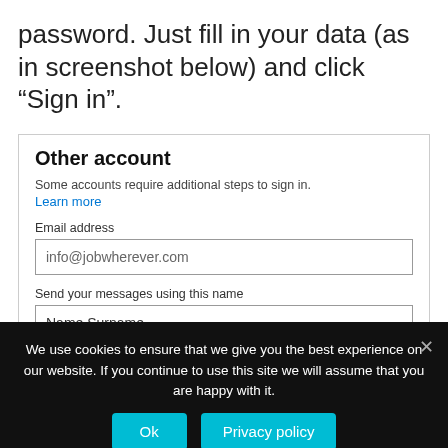password. Just fill in your data (as in screenshot below) and click “Sign in”.
Other account
Some accounts require additional steps to sign in.
Learn more
Email address
[Figure (screenshot): Input field with text info@jobwherever.com]
Send your messages using this name
[Figure (screenshot): Input field with placeholder text Name Surname]
Password
[Figure (screenshot): Active password input field with blue border]
We use cookies to ensure that we give you the best experience on our website. If you continue to use this site we will assume that you are happy with it.
Ok
Privacy policy